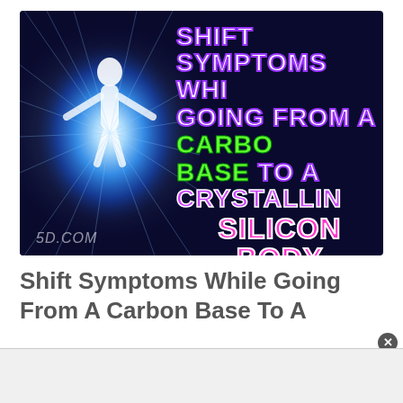[Figure (illustration): Thumbnail image with dark navy background showing a glowing white humanoid figure surrounded by blue light rays on the left side, and bold stylized text on the right reading 'Shift Symptoms While Going From A Carbon Base To A Crystalline Silicon Body' with white/purple, green, and pink/magenta colored text. Watermark '5D.COM' in lower left corner.]
Shift Symptoms While Going From A Carbon Base To A